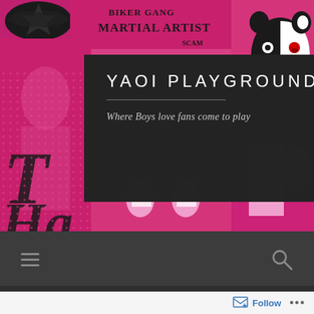[Figure (illustration): Pink and white manga/anime style collage background featuring anime characters, comic panels, text reading 'BIKER GANG', 'MARTIAL ARTIST', and a small Monokuma character (black and white bear) in the top right corner. The collage is predominantly magenta/pink colored.]
YAOI PLAYGROUND
Where Boys love fans come to play
[Figure (infographic): Navigation bar with hamburger menu icon (three horizontal lines) on the left and a search (magnifying glass) icon on the right, on a dark gray background.]
Danganronpa Trigger Happy
Follow ...